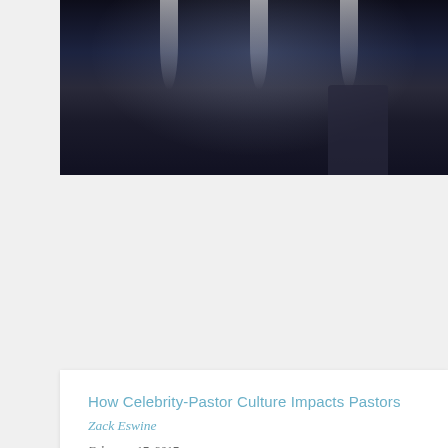[Figure (photo): Dark concert or church auditorium scene with light beams from above, silhouette of a person in background]
How Celebrity-Pastor Culture Impacts Pastors
Zack Eswine
February 17, 2017
We wrestle with this invitation to do a truly great thing by serving the least, while inside of us and outside of us, we're pressured to make much of ourselves.
[Figure (photo): Blurred close-up photo of a person resting or lying down, muted blue and gray tones]